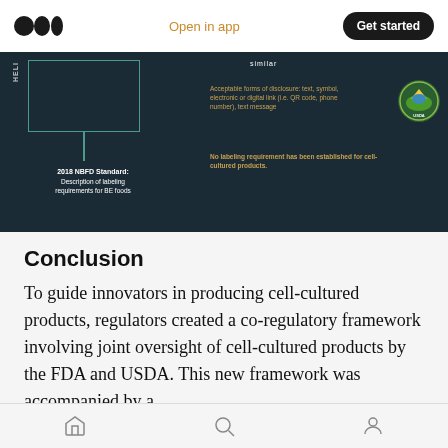Open in app | Get started
[Figure (infographic): Dark teal infographic showing 2018 NBFD Standard labeling requirements for BE foods on left, with box outline and HELI label. Right side shows acceptable forms of disclosure (text, symbol, electronic or digital link, QR code, phone number, text message) in orange text, USDA badge, and note that no labeling requirement has been established for cell-cultured products.]
Conclusion
To guide innovators in producing cell-cultured products, regulators created a co-regulatory framework involving joint oversight of cell-cultured products by the FDA and USDA. This new framework was accompanied by a
Home | Search | Profile